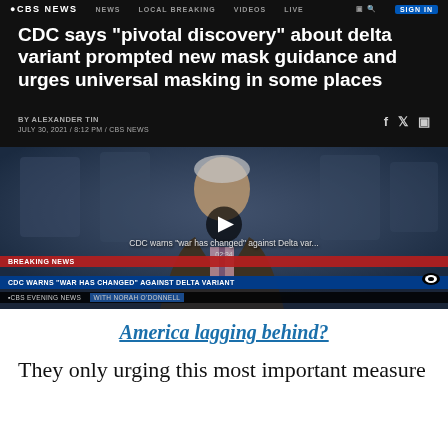CBS NEWS
CDC says "pivotal discovery" about delta variant prompted new mask guidance and urges universal masking in some places
BY ALEXANDER TIN
JULY 30, 2021 / 8:12 PM / CBS NEWS
[Figure (screenshot): Video thumbnail showing a news anchor in a studio with breaking news chyron: 'CDC WARNS "WAR HAS CHANGED" AGAINST DELTA VARIANT' on CBS EVENING NEWS with Norah O'Donnell. Play button visible in center.]
CDC warns "war has changed" against Delta var...
America lagging behind?
They only urging this most important measure